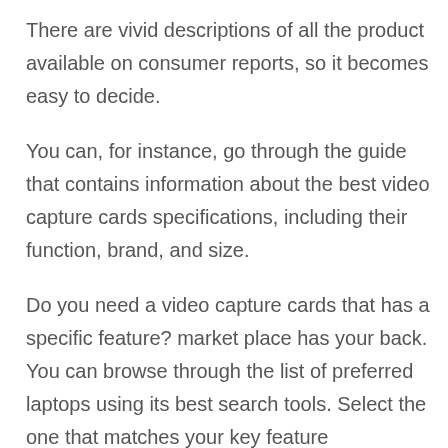There are vivid descriptions of all the product available on consumer reports, so it becomes easy to decide.
You can, for instance, go through the guide that contains information about the best video capture cards specifications, including their function, brand, and size.
Do you need a video capture cards that has a specific feature? market place has your back. You can browse through the list of preferred laptops using its best search tools. Select the one that matches your key feature expectations.
Doing your own research on the video capture cards is